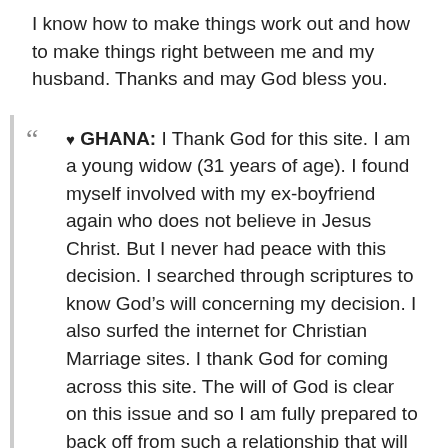I know how to make things work out and how to make things right between me and my husband. Thanks and may God bless you.
♥ GHANA: I Thank God for this site. I am a young widow (31 years of age). I found myself involved with my ex-boyfriend again who does not believe in Jesus Christ. But I never had peace with this decision. I searched through scriptures to know God's will concerning my decision. I also surfed the internet for Christian Marriage sites. I thank God for coming across this site. The will of God is clear on this issue and so I am fully prepared to back off from such a relationship that will only decrease my commitment to God, my Creator and Redeemer.
♥ INDIA: We are thankful for the good articles and videos on marriage enrichment. It is a great